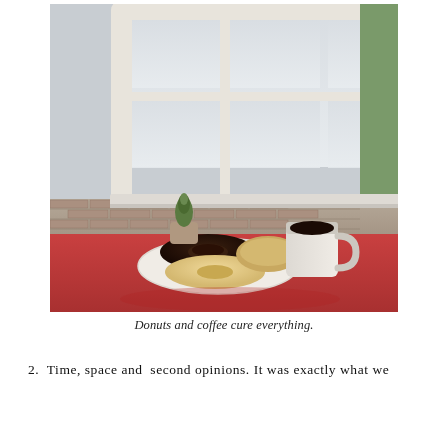[Figure (photo): A cafe scene with a red table near a window. On a white plate there are two donuts (one chocolate-glazed, one glazed) and a pastry. Beside them is a white ceramic mug of black coffee and a small potted cactus. A large multi-pane window with a view of a snowy/grey exterior is visible in the background, along with a brick wall and green door frame.]
Donuts and coffee cure everything.
2. Time, space and second opinions. It was exactly what we